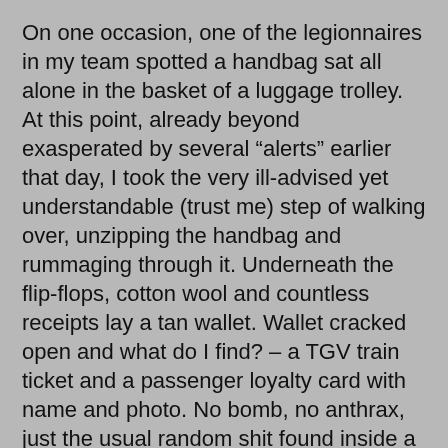On one occasion, one of the legionnaires in my team spotted a handbag sat all alone in the basket of a luggage trolley. At this point, already beyond exasperated by several “alerts” earlier that day, I took the very ill-advised yet understandable (trust me) step of walking over, unzipping the handbag and rummaging through it. Underneath the flip-flops, cotton wool and countless receipts lay a tan wallet. Wallet cracked open and what do I find? – a TGV train ticket and a passenger loyalty card with name and photo. No bomb, no anthrax, just the usual random shit found inside a lady’s handbag. I promptly brought it to the nearest information counter, making sure to state that I’d found it open with the TGV ticket jutting out (covering my ass and all that). Case closed, nothing exploded, and the monotony and inconvenience of these abandoned bags was reaching fever pitch.